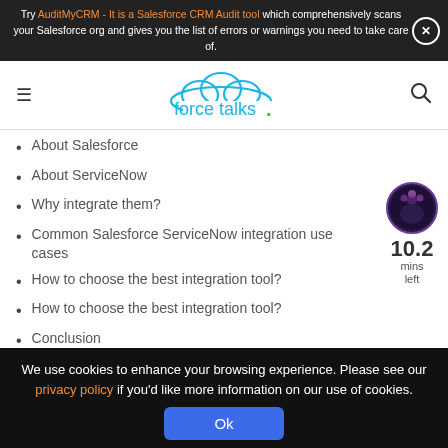Try AuditMyCRM - It is a Salesforce CRM Audit tool which comprehensively scans your Salesforce org and gives you the list of errors or warnings you need to take care of.
[Figure (logo): forcetalks. logo with cloud icon]
About Salesforce
About ServiceNow
Why integrate them?
Common Salesforce ServiceNow integration use cases
How to choose the best integration tool?
How to choose the best integration tool?
Conclusion
Customer Relationship Management systems play a key
We use cookies to enhance your browsing experience. Please see our privacy policy if you'd like more information on our use of cookies.